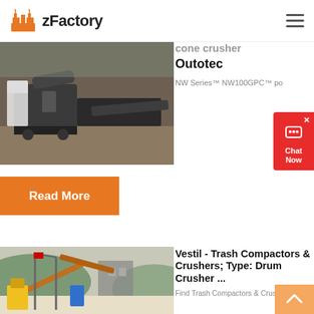zFactory
[Figure (photo): Industrial cone crusher machine on outdoor ground]
cone crusher Outotec
NW Series™ NW100GPC™ po
Read More
[Figure (photo): Industrial crushing and screening plant with conveyor belts and machinery]
Vestil - Trash Compactors & Crushers; Type: Drum Crusher ...
Find Trash Compactors & Crush...